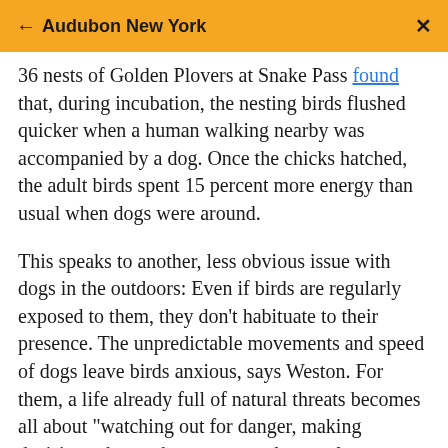← Audubon New York  ×
36 nests of Golden Plovers at Snake Pass found that, during incubation, the nesting birds flushed quicker when a human walking nearby was accompanied by a dog. Once the chicks hatched, the adult birds spent 15 percent more energy than usual when dogs were around.
This speaks to another, less obvious issue with dogs in the outdoors: Even if birds are regularly exposed to them, they don't habituate to their presence. The unpredictable movements and speed of dogs leave birds anxious, says Weston. For them, a life already full of natural threats becomes all about "watching out for danger, making decisions about when to respond properly to danger, and surviving encounters that might be potentially lethal."